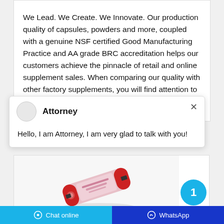We Lead. We Create. We Innovate. Our production quality of capsules, powders and more, coupled with a genuine NSF certified Good Manufacturing Practice and AA grade BRC accreditation helps our customers achieve the pinnacle of retail and online supplement sales. When comparing our quality with other factory supplements, you will find attention to detail at every level.
[Figure (screenshot): Chat popup with avatar, name 'Attorney', close button, and message 'Hello, I am Attorney, I am very glad to talk with you!']
[Figure (photo): Product package photo - a wrapped supplement or food product with red and pink packaging, lying on a white background. A cyan circle badge with number '1' is overlaid at the right.]
Chat online
WhatsApp